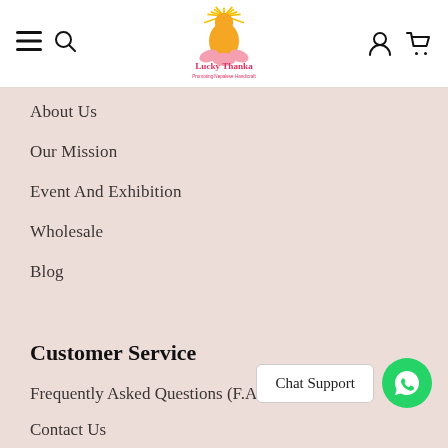Lucky Thanka – Promoting Nepalese Handicraft
About Us
Our Mission
Event And Exhibition
Wholesale
Blog
Customer Service
Frequently Asked Questions (F.A.Q)
Contact Us
Delivery Information
Privacy Policy
Chat Support